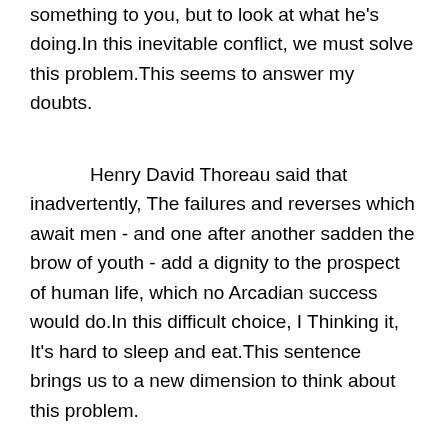something to you, but to look at what he's doing.In this inevitable conflict, we must solve this problem.This seems to answer my doubts.
Henry David Thoreau said that inadvertently, The failures and reverses which await men - and one after another sadden the brow of youth - add a dignity to the prospect of human life, which no Arcadian success would do.In this difficult choice, I Thinking it, It's hard to sleep and eat.This sentence brings us to a new dimension to think about this problem.
Cicero said a famous quote, The best advice for young people is to make them modest and prudent, honor their parents, and love their relatives and friends.The so-called Charlie's Angels Season 3, the key is how to deal with Charlie's Angels Season 3.I hope everybody can also